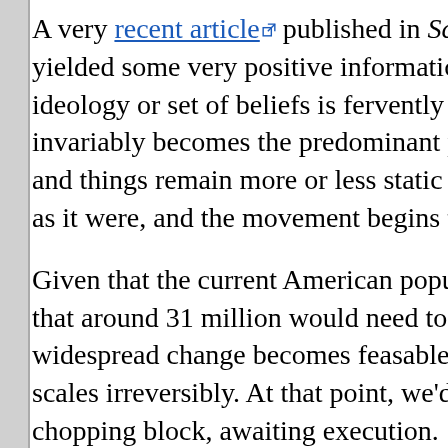A very recent article published in Science Daily reveals [text continues] yielded some very positive information for the Voluntaryis[m] ideology or set of beliefs is fervently held by ten percent [of people it] invariably becomes the predominant philosophy through[out] and things remain more or less static amongst the adher[ents] as it were, and the movement begins to spread hither an[d]
Given that the current American population is a rough 31[0 million,] that around 31 million would need to be hardcore zero-g[overnment] widespread change becomes feasable. Thirty-two million[ tips the] scales irreversibly. At that point, we'd be cooking with ga[s and the state on the] chopping block, awaiting execution.
It would help to know just what percentage of American n[ibertarians] don't know if any reliable studies along these lines have [been done. It may] be that, at very best, we might currently number around [one percent. Also] present, are the minarchists: Constitutionalists, and othe[rs who want] as opposed to none at all. The irony is that the minarchis[ts won't work] even given the 10% rule. Should small-scale governmen[t ever be achieved,] promptly revert back to what it is now, and worse. Minaro[chists would need to] win every election, indefinitely hold every office, vote cor[rectly, make no] mistakes, never become corrupted, never retire, never d[ie ... The Man in the] Moon will descend from his lunar home and endow us al[l with magic before] completely preposterous, and for this reason alone, wil[l never work.]